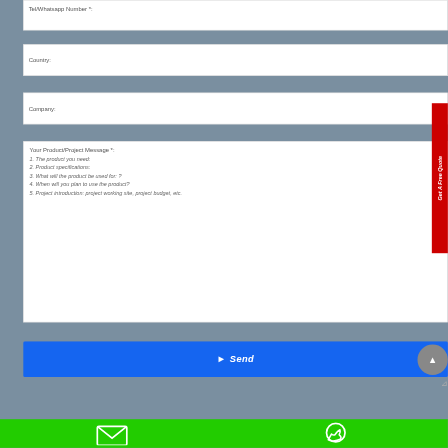Tel/Whatsapp Number *:
Country:
Company:
Your Product/Project Message *:
1. The product you need:
2. Product specifications:
3. What will the product be used for: ?
4. When will you plan to use the product?
5. Project introduction: project working site, project budget, etc.
Send
Get A Free Quote
[Figure (screenshot): Green footer bar with email and WhatsApp icons]